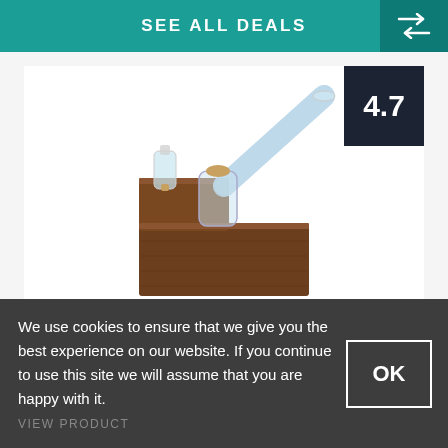SEE ALL DEALS
[Figure (photo): Sticky Brick HydroBrick Maxx product photo — a stepped wooden block base with glass water pipe attachment, rating badge showing 4.7]
Sticky Brick HydroBrick Maxx
Whether it is an outdoor adventure or at home: The HydroBrick Maxx offers you incredibly ...
We use cookies to ensure that we give you the best experience on our website. If you continue to use this site we will assume that you are happy with it.